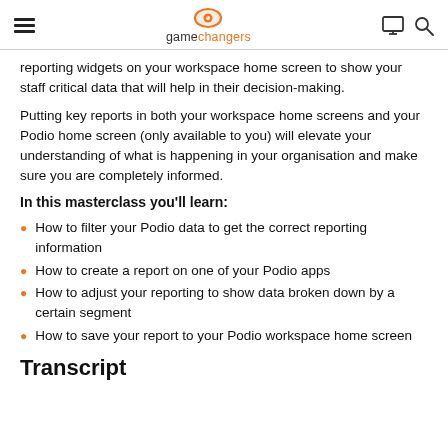game changers
reporting widgets on your workspace home screen to show your staff critical data that will help in their decision-making.
Putting key reports in both your workspace home screens and your Podio home screen (only available to you) will elevate your understanding of what is happening in your organisation and make sure you are completely informed.
In this masterclass you'll learn:
How to filter your Podio data to get the correct reporting information
How to create a report on one of your Podio apps
How to adjust your reporting to show data broken down by a certain segment
How to save your report to your Podio workspace home screen
Transcript